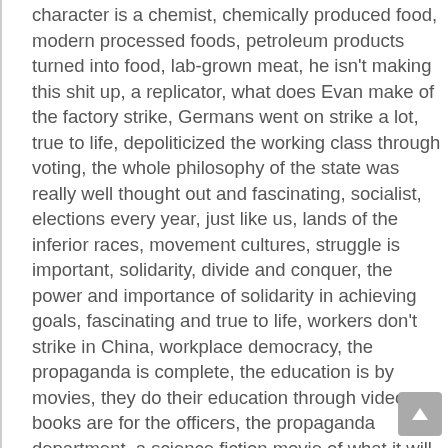character is a chemist, chemically produced food, modern processed foods, petroleum products turned into food, lab-grown meat, he isn't making this shit up, a replicator, what does Evan make of the factory strike, Germans went on strike a lot, true to life, depoliticized the working class through voting, the whole philosophy of the state was really well thought out and fascinating, socialist, elections every year, just like us, lands of the inferior races, movement cultures, struggle is important, solidarity, divide and conquer, the power and importance of solidarity in achieving goals, fascinating and true to life, workers don't strike in China, workplace democracy, the propaganda is complete, the education is by movies, they do their education through video, books are for the officers, the propaganda department, a science fiction movie of what it will be like when we conquer the rest of the world, one of the members of ABBA, bringing the Aryan north into Germany, a mixer, you better have a good reason, the endless war of